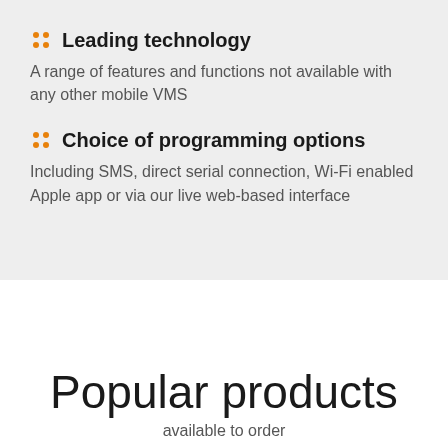Leading technology — A range of features and functions not available with any other mobile VMS
Choice of programming options — Including SMS, direct serial connection, Wi-Fi enabled Apple app or via our live web-based interface
Popular products
available to order